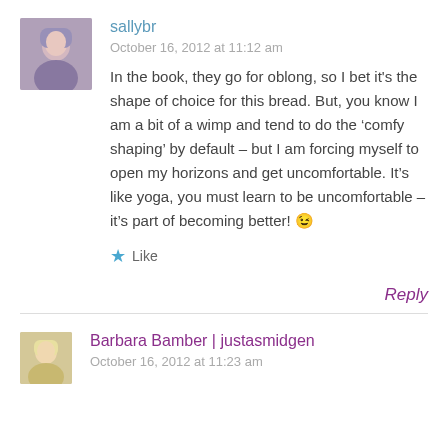[Figure (photo): Small avatar photo of sallybr, a person wearing blue/purple tones]
sallybr
October 16, 2012 at 11:12 am
In the book, they go for oblong, so I bet it's the shape of choice for this bread. But, you know I am a bit of a wimp and tend to do the ‘comfy shaping’ by default – but I am forcing myself to open my horizons and get uncomfortable. It’s like yoga, you must learn to be uncomfortable – it’s part of becoming better! 😉
★ Like
Reply
[Figure (photo): Small avatar photo of Barbara Bamber, a woman with light hair]
Barbara Bamber | justasmidgen
October 16, 2012 at 11:23 am